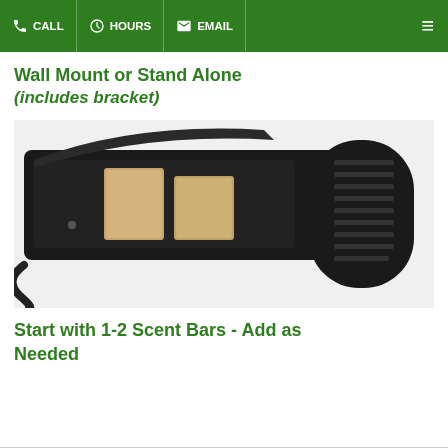CALL | HOURS | EMAIL | ≡
Wall Mount or Stand Alone (includes bracket)
[Figure (photo): A black electric scent diffuser device opened up, showing two tan/beige scent bars inserted inside the tray, with a fan grille visible on the right side and a power cord on the left.]
Start with 1-2 Scent Bars - Add as Needed